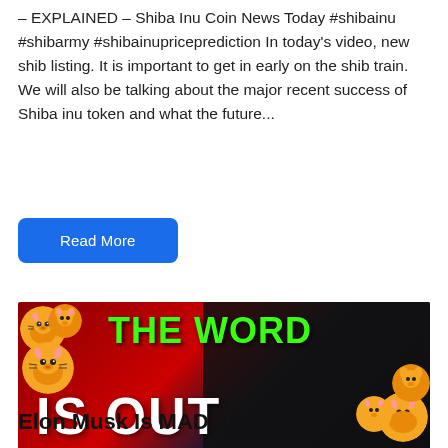– EXPLAINED – Shiba Inu Coin News Today #shibainu #shibarmy #shibainupriceprediction In today's video, new shib listing. It is important to get in early on the shib train. We will also be talking about the major recent success of Shiba inu token and what the future...
Read More
[Figure (photo): Thumbnail image with dark background, Shiba Inu dog cartoon icons on left and right, large green bold text 'THE WORD' and large white bold text 'IS OUT']
Elon Musk Is MAD At Shiba